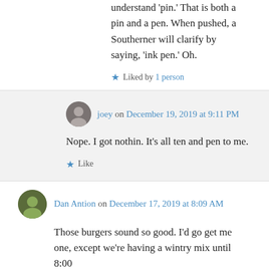understand 'pin.' That is both a pin and a pen. When pushed, a Southerner will clarify by saying, 'ink pen.' Oh.
Liked by 1 person
joey on December 19, 2019 at 9:11 PM
Nope. I got nothin. It's all ten and pen to me.
Like
Dan Antion on December 17, 2019 at 8:09 AM
Those burgers sound so good. I'd go get me one, except we're having a wintry mix until 8:00